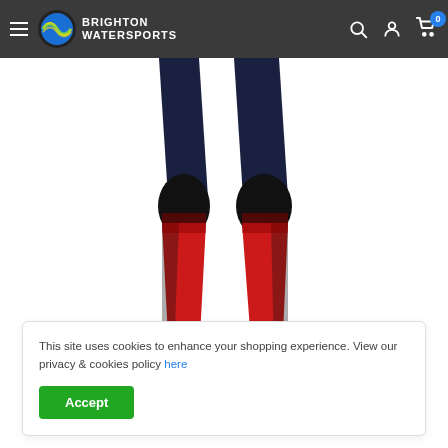Brighton Watersports - navigation header with hamburger menu, logo, search, account, and cart icons
[Figure (photo): Close-up of the lower half of a wetsuit mannequin showing navy blue thighs with black knee reinforcement panels and red lower leg sections, on a white background.]
Click on image to zoom
This site uses cookies to enhance your shopping experience. View our privacy & cookies policy here
Accept